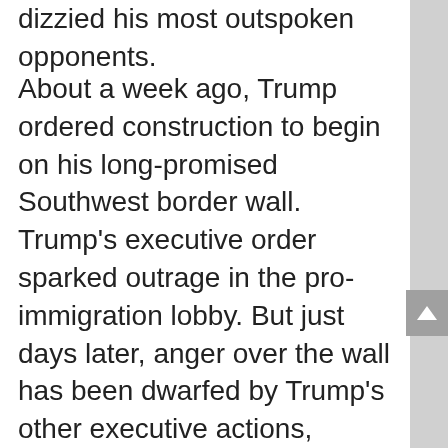dizzied his most outspoken opponents.
About a week ago, Trump ordered construction to begin on his long-promised Southwest border wall. Trump's executive order sparked outrage in the pro-immigration lobby. But just days later, anger over the wall has been dwarfed by Trump's other executive actions, including his promise to defund sanctuary cities that refuse to comply with federal immigration laws, and his temporary restrictions on travel to the U.S. from seven nations with ties to terrorism.